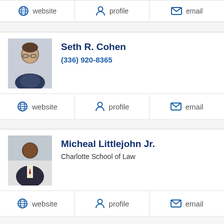website | profile | email (top truncated row)
[Figure (photo): Headshot of Seth R. Cohen, middle-aged man with glasses, dark jacket]
Seth R. Cohen
(336) 920-8365
website | profile | email
[Figure (photo): Headshot of Micheal Littlejohn Jr., man in suit, indoor background]
Micheal Littlejohn Jr.
Charlotte School of Law
website | profile | email
NEXT